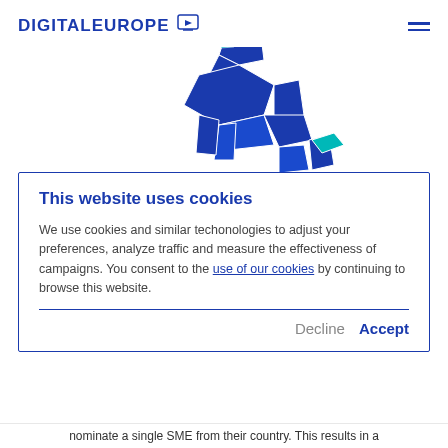DIGITALEUROPE
[Figure (illustration): Geometric origami-style unicorn illustration in blue and teal/cyan colors, centered in the upper portion of the page.]
This website uses cookies
We use cookies and similar techonologies to adjust your preferences, analyze traffic and measure the effectiveness of campaigns. You consent to the use of our cookies by continuing to browse this website.
nominate a single SME from their country. This results in a